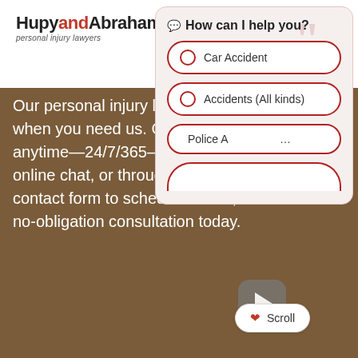[Figure (logo): Hupy and Abraham S.C. personal injury lawyers logo]
Our personal injury law firm is here when you need us. Contact us anytime—24/7/365—by phone, online chat, or through our online contact form to schedule a free, no-obligation consultation today.
[Figure (screenshot): Chatbot popup overlay with header 'How can I help you?' and options: Car Accident, Accidents (All kinds), Police Accident (partially visible), and a fourth partial option. Includes a Scroll button at the bottom.]
[Figure (other): Play button (video thumbnail play icon) in gray rounded square]
[Figure (other): Green phone button (call to action) in bottom left]
W
FR
GUARANTEE